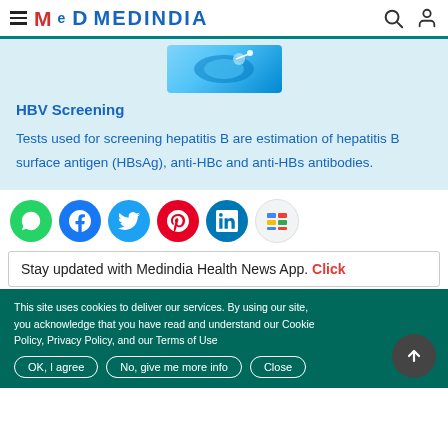MEDINDIA
[Figure (photo): Medical image of brain/hepatitis scan thumbnail in blue tones]
HBV Screening
Tests used for screening hepatitis B are estimation of hepatitis B surface antigen (HBsAg), anti-HBc and anti-HBs antibodies.
[Figure (infographic): Social media share buttons: WhatsApp, Facebook, Twitter, Pinterest, LinkedIn, Google News]
Stay updated with Medindia Health News App. Click
This site uses cookies to deliver our services. By using our site, you acknowledge that you have read and understand our Cookie Policy, Privacy Policy, and our Terms of Use
OK, I agree    No, give me more info    Close